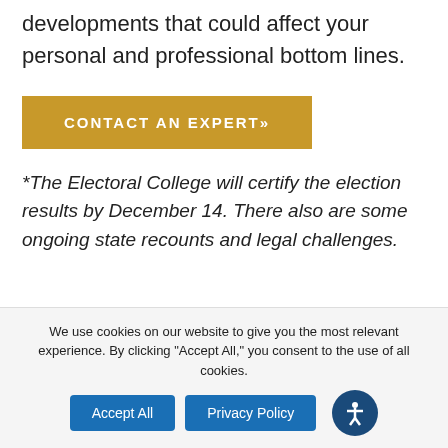developments that could affect your personal and professional bottom lines.
CONTACT AN EXPERT»
*The Electoral College will certify the election results by December 14. There also are some ongoing state recounts and legal challenges.
We use cookies on our website to give you the most relevant experience. By clicking “Accept All,” you consent to the use of all cookies.